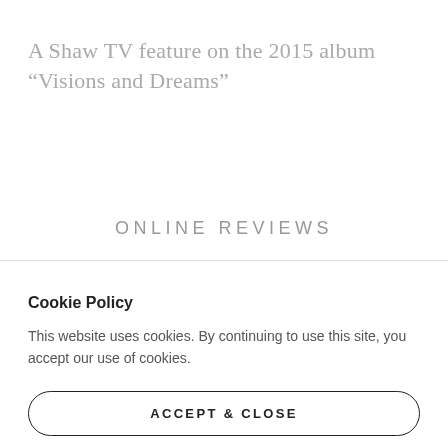A Shaw TV feature on the 2015 album "Visions and Dreams"
ONLINE REVIEWS
Cookie Policy
This website uses cookies. By continuing to use this site, you accept our use of cookies.
ACCEPT & CLOSE